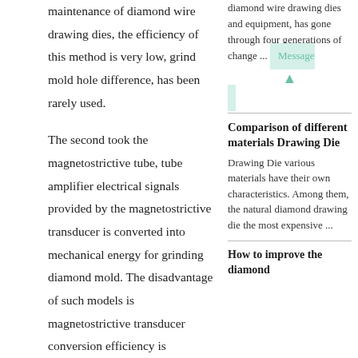maintenance of diamond wire drawing dies, the efficiency of this method is very low, grind mold hole difference, has been rarely used.
The second took the magnetostrictive tube, tube amplifier electrical signals provided by the magnetostrictive transducer is converted into mechanical energy for grinding diamond mold. The disadvantage of such models is magnetostrictive transducer conversion efficiency is
diamond wire drawing dies and equipment, has gone through four generations of change ... Message
Comparison of different materials Drawing Die
Drawing Die various materials have their own characteristics. Among them, the natural diamond drawing die the most expensive ...
How to improve the diamond